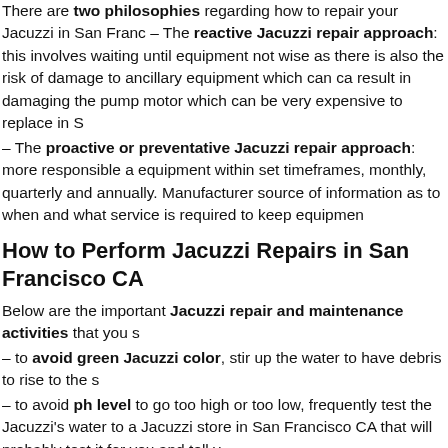There are two philosophies regarding how to repair your Jacuzzi in San Francisco – The reactive Jacuzzi repair approach: this involves waiting until equipment not wise as there is also the risk of damage to ancillary equipment which can cause result in damaging the pump motor which can be very expensive to replace in S
– The proactive or preventative Jacuzzi repair approach: more responsible approach equipment within set timeframes, monthly, quarterly and annually. Manufacturers source of information as to when and what service is required to keep equipment
How to Perform Jacuzzi Repairs in San Francisco CA
Below are the important Jacuzzi repair and maintenance activities that you s
– to avoid green Jacuzzi color, stir up the water to have debris to rise to the s
– to avoid ph level to go too high or too low, frequently test the Jacuzzi's water to a Jacuzzi store in San Francisco CA that will probably test it for you and tell y
– to avoid murky or unclear water due to high levels of algae or bacteria, use
– if your water is cloudy or greenish, you should probably replace or repair your
Also, unlike outdoor Jacuzzis, you can still use your Jacuzzi during winter months winter, you should find a good time to perform routine repairs like cleaning o you should check and replace Jacuzzi pump and filter if necessary, or repair am moving equipment like ladders or rails for needed repair. If you have a gas Jacu